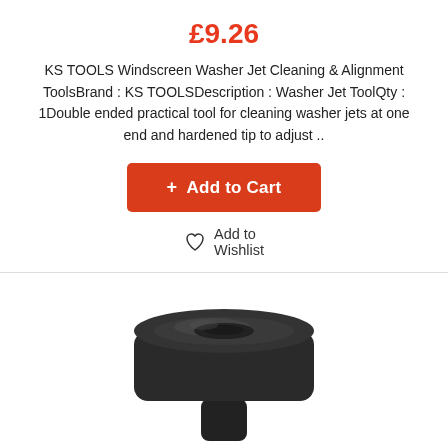£9.26
KS TOOLS Windscreen Washer Jet Cleaning & Alignment ToolsBrand : KS TOOLSDescription : Washer Jet ToolQty : 1Double ended practical tool for cleaning washer jets at one end and hardened tip to adjust ..
+ Add to Cart
Add to Wishlist
[Figure (photo): Black plastic knurled cap/knob tool, photographed from above at a slight angle, sitting on a cylindrical stem. Dark background color of the tool against white background.]